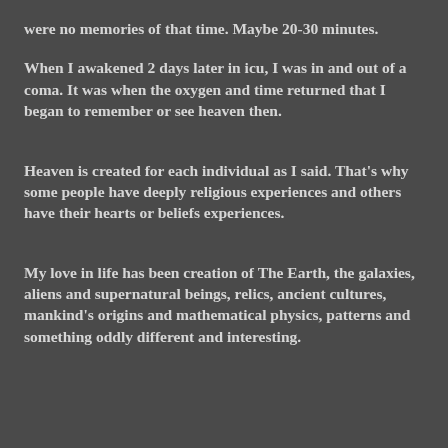were no memories of that time. Maybe 20-30 minutes.
When I awakened 2 days later in icu, I was in and out of a coma. It was when the oxygen and time returned that I began to remember or see heaven then.
Heaven is created for each individual as I said. That's why some people have deeply religious experiences and others have their hearts or beliefs experiences.
My love in life has been creation of The Earth, the galaxies, aliens and supernatural beings, relics, ancient cultures, mankind's origins and mathematical physics, patterns and something oddly different and interesting.